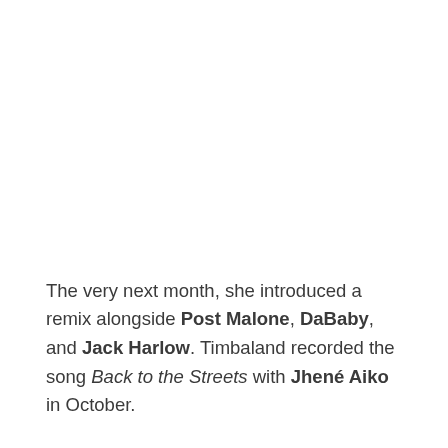The very next month, she introduced a remix alongside Post Malone, DaBaby, and Jack Harlow. Timbaland recorded the song Back to the Streets with Jhené Aiko in October.